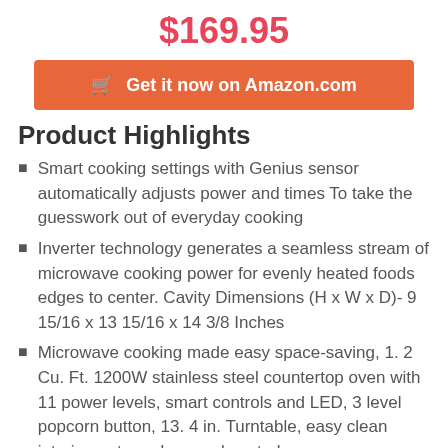$169.95
Get it now on Amazon.com
Product Highlights
Smart cooking settings with Genius sensor automatically adjusts power and times To take the guesswork out of everyday cooking
Inverter technology generates a seamless stream of microwave cooking power for evenly heated foods edges to center. Cavity Dimensions (H x W x D)- 9 15/16 x 13 15/16 x 14 3/8 Inches
Microwave cooking made easy space-saving, 1. 2 Cu. Ft. 1200W stainless steel countertop oven with 11 power levels, smart controls and LED, 3 level popcorn button, 13. 4 in. Turntable, easy clean interior, auto and manual controls
sensor reheat warms evenly to retain nutrients and